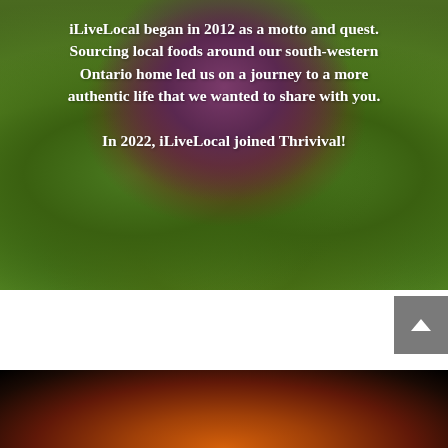[Figure (photo): Close-up photograph of ornamental cabbage/kale with purple center and green ruffled outer leaves, serving as background for overlaid text]
iLiveLocal began in 2012 as a motto and quest. Sourcing local foods around our south-western Ontario home led us on a journey to a more authentic life that we wanted to share with you.

In 2022, iLiveLocal joined Thrivival!
[Figure (photo): Dark photograph of a pumpkin or squash with glowing orange tones from below, against a black background]